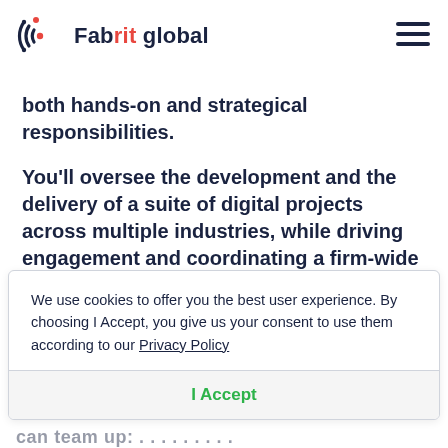[Figure (logo): Fabrit global logo with circular icon on the left and hamburger menu icon on the right]
both hands-on and strategical responsibilities.
You'll oversee the development and the delivery of a suite of digital projects across multiple industries, while driving engagement and coordinating a firm-wide
We use cookies to offer you the best user experience. By choosing I Accept, you give us your consent to use them according to our Privacy Policy
I Accept
can team up: